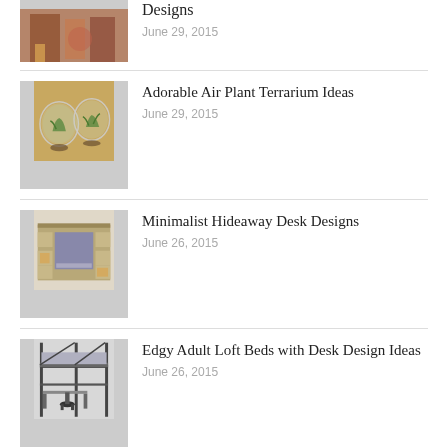[Figure (photo): Partial view of a room with colorful decor — top of list item cut off at top of page]
Designs
June 29, 2015
[Figure (photo): Two glass globe terrariums with air plants on a wooden surface]
Adorable Air Plant Terrarium Ideas
June 29, 2015
[Figure (photo): A minimalist hideaway desk unit with shelving and storage]
Minimalist Hideaway Desk Designs
June 26, 2015
[Figure (photo): A loft bed with a desk and chair underneath, industrial style]
Edgy Adult Loft Beds with Desk Design Ideas
June 26, 2015
OTHER GALLERIES